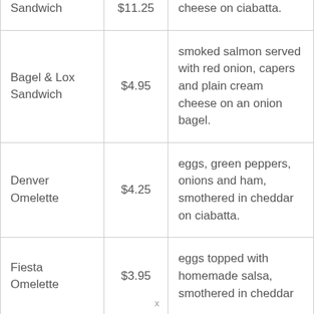| Sandwich | $11.25 | cheese on ciabatta. |
| Bagel & Lox Sandwich | $4.95 | smoked salmon served with red onion, capers and plain cream cheese on an onion bagel. |
| Denver Omelette | $4.25 | eggs, green peppers, onions and ham, smothered in cheddar on ciabatta. |
| Fiesta Omelette | $3.95 | eggs topped with homemade salsa, smothered in cheddar |